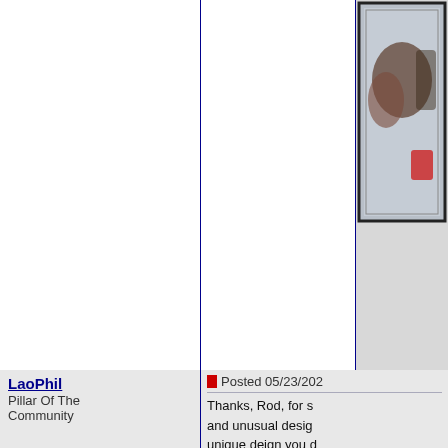[Figure (photo): Partial view of a postage stamp with dark border in top-right cell, cropped]
LaoPhil
Pillar Of The Community
[Figure (photo): Avatar image showing a postage stamp with figures at a loom or weaving, brown/red tones, dashed border]
Israel
1338 Posts
Posted 05/23/202
Thanks, Rod, for s and unusual desig unique deign you d for Israel. It is a se issued on August 3